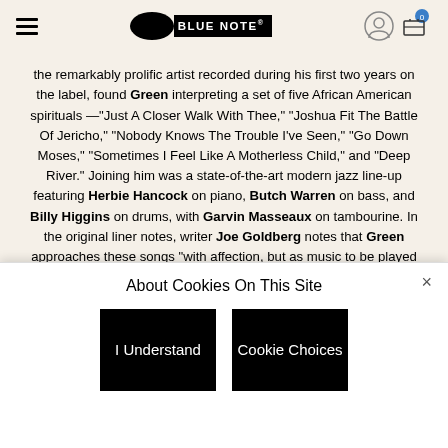Blue Note Records – navigation header with hamburger menu, Blue Note logo, user icon and cart
the remarkably prolific artist recorded during his first two years on the label, found Green interpreting a set of five African American spirituals —"Just A Closer Walk With Thee," "Joshua Fit The Battle Of Jericho," "Nobody Knows The Trouble I've Seen," "Go Down Moses," "Sometimes I Feel Like A Motherless Child," and "Deep River." Joining him was a state-of-the-art modern jazz line-up featuring Herbie Hancock on piano, Butch Warren on bass, and Billy Higgins on drums, with Garvin Masseaux on tambourine. In the original liner notes, writer Joe Goldberg notes that Green approaches these songs "with affection, but as music to be played in his style. The result is a fascinating combination: the techniques of modern jazz, blues, and gospel, all
About Cookies On This Site
I Understand
Cookie Choices